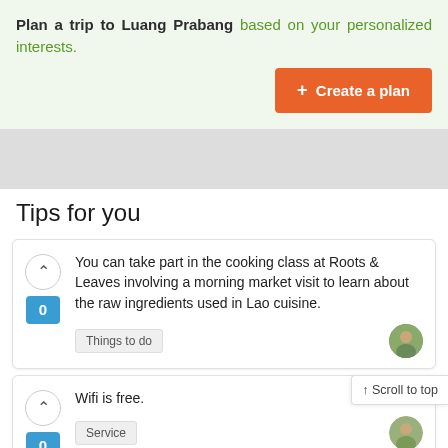Plan a trip to Luang Prabang based on your personalized interests.
+ Create a plan
Tips for you
You can take part in the cooking class at Roots & Leaves involving a morning market visit to learn about the raw ingredients used in Lao cuisine.
Things to do
Wifi is free.
Service
↑ Scroll to top